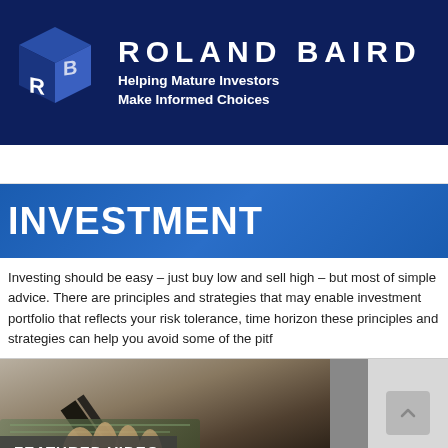[Figure (logo): Roland Baird logo with RB cube icon in navy blue header banner. Brand name 'ROLAND BAIRD' in white bold uppercase letters with tagline 'Helping Mature Investors Make Informed Choices'.]
INVESTMENT
Investing should be easy – just buy low and sell high – but most of simple advice. There are principles and strategies that may enable investment portfolio that reflects your risk tolerance, time horizon these principles and strategies can help you avoid some of the pitf
[Figure (photo): Featured Video thumbnail showing a hand holding cash/money with dark overlay. Label reads 'FEATURED VIDEO' in white text on dark semi-transparent background.]